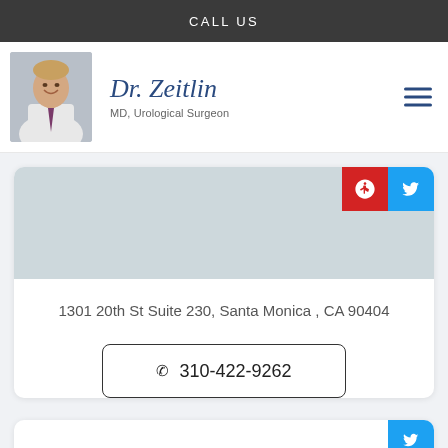CALL US
[Figure (photo): Photo of Dr. Zeitlin in white coat with cursive signature 'Dr. Zeitlin' and subtitle 'MD, Urological Surgeon']
1301 20th St Suite 230, Santa Monica , CA 90404
☎ 310-422-9262